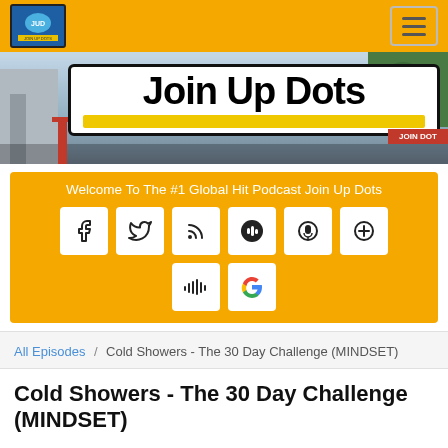[Figure (logo): Join Up Dots podcast logo in top-left navigation bar]
[Figure (photo): Hero banner image showing a billboard sign reading 'Join Up Dots' against a cityscape background with buildings and trees]
Welcome To The #1 Global Hit Podcast Join Up Dots
[Figure (infographic): Row of social media icon buttons: Facebook, Twitter, RSS, Google+, Podcast, Plus icon; second row: Stitcher, Google]
All Episodes
/ Cold Showers - The 30 Day Challenge (MINDSET)
Cold Showers - The 30 Day Challenge (MINDSET)